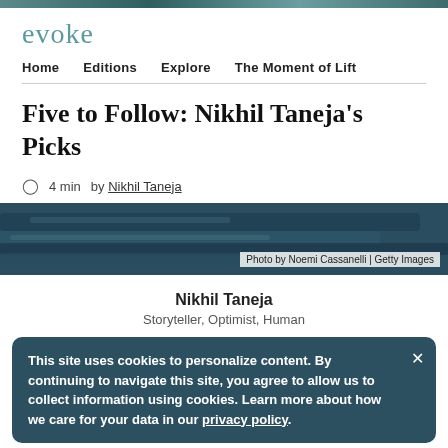evoke
Home   Editions   Explore   The Moment of Lift
Five to Follow: Nikhil Taneja’s Picks
4 min   by Nikhil Taneja
[Figure (photo): Hero banner image with dark blue brushstroke texture. Photo credit: Photo by Noemi Cassanelli | Getty Images]
Photo by Noemi Cassanelli | Getty Images
Nikhil Taneja
Storyteller, Optimist, Human
This site uses cookies to personalize content. By continuing to navigate this site, you agree to allow us to collect information using cookies. Learn more about how we care for your data in our privacy policy.
Foundation initiative that aims to catalyze action toward the